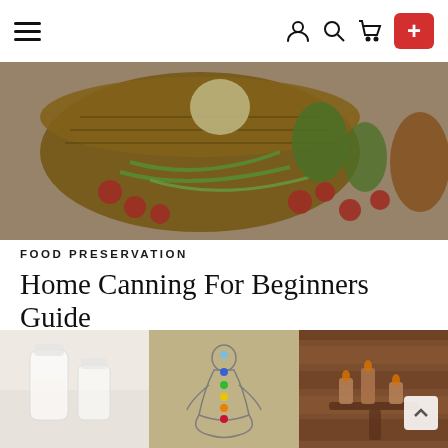Navigation bar with hamburger menu, user/search/cart icons, and red + button
[Figure (photo): Overhead photo of a wicker basket with vegetables including tomatoes, green beans, peppers, and an onion on a wooden surface]
FOOD PRESERVATION
Home Canning For Beginners Guide
Read More
[Figure (photo): Three-panel collage: left panel shows glass jars/containers on a white surface; center panel shows a chakra meditation figure illustration with colored dots; right panel shows candles in a wooden sauna-like setting]